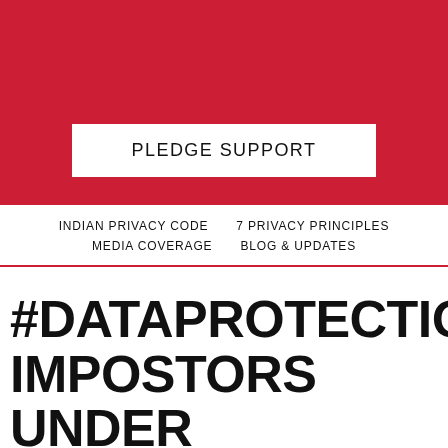[Figure (other): Red banner background at the top of the page]
PLEDGE SUPPORT
INDIAN PRIVACY CODE   7 PRIVACY PRINCIPLES   MEDIA COVERAGE   BLOG & UPDATES
#DATAPROTECTIONTOP10: IMPOSTORS UNDER THE PERSONAL DATA PROTECTION BILL